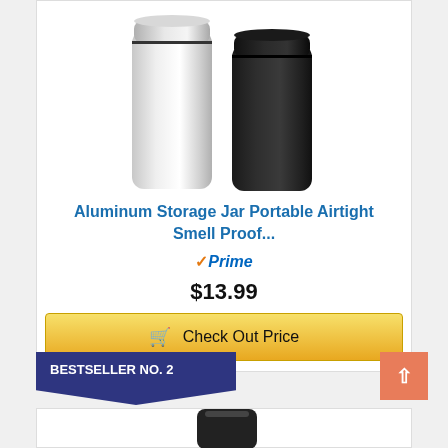[Figure (photo): Two aluminum storage jars side by side - one silver/white and one black, cylindrical with screw-top lids]
Aluminum Storage Jar Portable Airtight Smell Proof...
Prime
$13.99
Check Out Price
BESTSELLER NO. 2